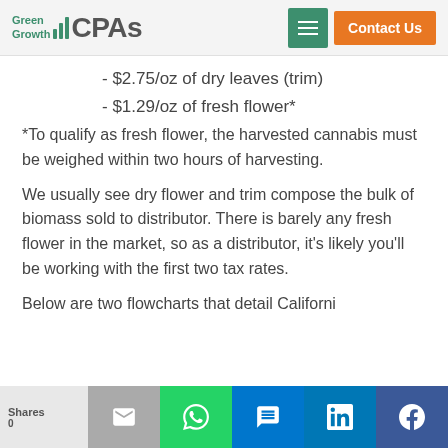Green Growth CPAs | Contact Us
- $2.75/oz of dry leaves (trim)
- $1.29/oz of fresh flower*
*To qualify as fresh flower, the harvested cannabis must be weighed within two hours of harvesting.
We usually see dry flower and trim compose the bulk of biomass sold to distributor. There is barely any fresh flower in the market, so as a distributor, it’s likely you’ll be working with the first two tax rates.
Below are two flowcharts that detail Californi...
Shares